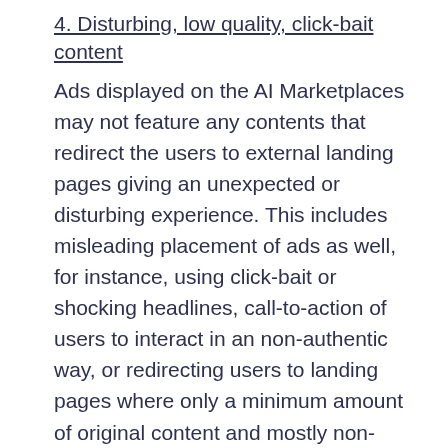4. Disturbing, low quality, click-bait content
Ads displayed on the AI Marketplaces may not feature any contents that redirect the users to external landing pages giving an unexpected or disturbing experience. This includes misleading placement of ads as well, for instance, using click-bait or shocking headlines, call-to-action of users to interact in an non-authentic way, or redirecting users to landing pages where only a minimum amount of original content and mostly non-related or low-quality advertisement contents are found. Furthermore, no